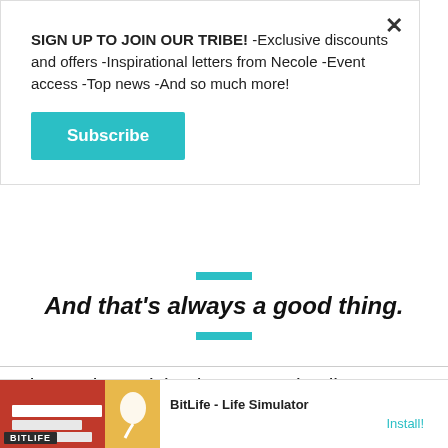SIGN UP TO JOIN OUR TRIBE! -Exclusive discounts and offers -Inspirational letters from Necole -Event access -Top news -And so much more!
Subscribe
time to incentivize buyers and sellers to make a move.
[Figure (infographic): Teal decorative bar above pull-quote]
And that's always a good thing.
[Figure (infographic): Teal decorative bar below pull-quote]
If you are looking to refinance, absolutely do so!
[Figure (screenshot): Ad banner for BitLife - Life Simulator with red background and install button]